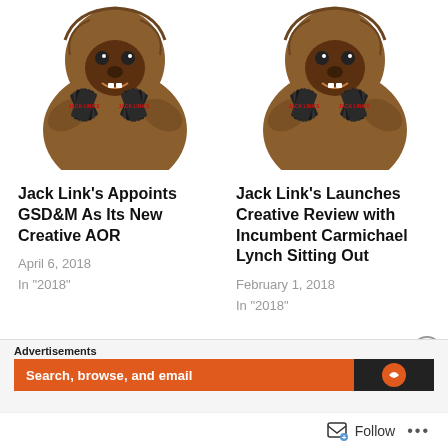[Figure (photo): Bigfoot character in brown fur costume holding Jack Link's meat snack packages, left column]
[Figure (photo): Bigfoot character in brown fur costume holding Jack Link's meat snack packages, right column]
Jack Link’s Appoints GSD&M As Its New Creative AOR
April 6, 2018
In "2018"
Jack Link’s Launches Creative Review with Incumbent Carmichael Lynch Sitting Out
February 1, 2018
In "2018"
Advertisements
Search, browse, and email